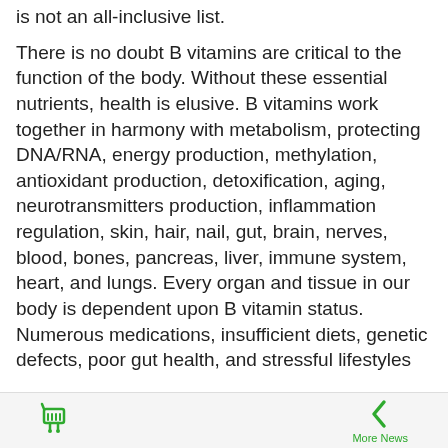is not an all-inclusive list.
There is no doubt B vitamins are critical to the function of the body. Without these essential nutrients, health is elusive. B vitamins work together in harmony with metabolism, protecting DNA/RNA, energy production, methylation, antioxidant production, detoxification, aging, neurotransmitters production, inflammation regulation, skin, hair, nail, gut, brain, nerves, blood, bones, pancreas, liver, immune system, heart, and lungs. Every organ and tissue in our body is dependent upon B vitamin status. Numerous medications, insufficient diets, genetic defects, poor gut health, and stressful lifestyles interfere with...
Cart | More News